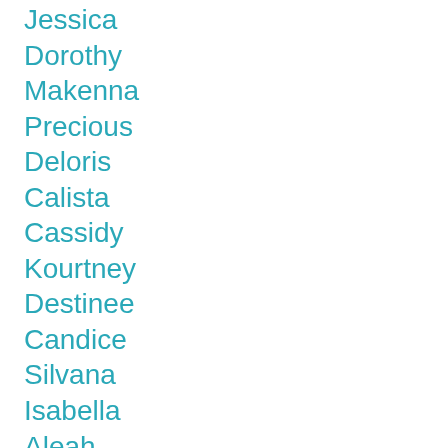Jessica
Dorothy
Makenna
Precious
Deloris
Calista
Cassidy
Kourtney
Destinee
Candice
Silvana
Isabella
Aleah
Faviola